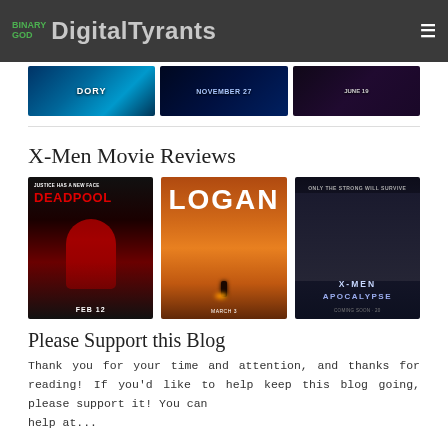BINARY GOD DIGITAL TYRANTS
[Figure (photo): Three movie banner images: Finding Dory, another film (November 27), and a third film (June 19)]
X-Men Movie Reviews
[Figure (photo): Three movie posters: Deadpool (Justice Has a New Face, FEB 12), Logan, and X-Men Apocalypse]
Please Support this Blog
Thank you for your time and attention, and thanks for reading! If you'd like to help keep this blog going, please support it! You can help at...